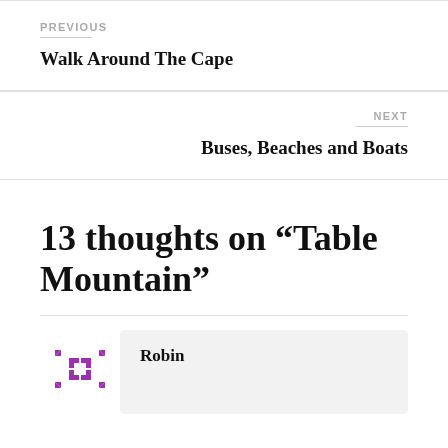PREVIOUS
Walk Around The Cape
NEXT
Buses, Beaches and Boats
13 thoughts on “Table Mountain”
Robin